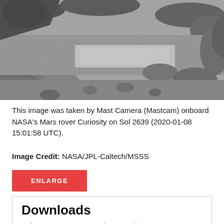[Figure (photo): Grayscale photograph of the Martian surface taken by Mast Camera (Mastcam) on NASA's Mars rover Curiosity on Sol 2639. Shows rocky terrain with stones and sandy ground.]
This image was taken by Mast Camera (Mastcam) onboard NASA's Mars rover Curiosity on Sol 2639 (2020-01-08 15:01:58 UTC).
Image Credit: NASA/JPL-Caltech/MSSS
ENLARGE
Downloads
Sol 2639: Mast Camera (Mastcam)